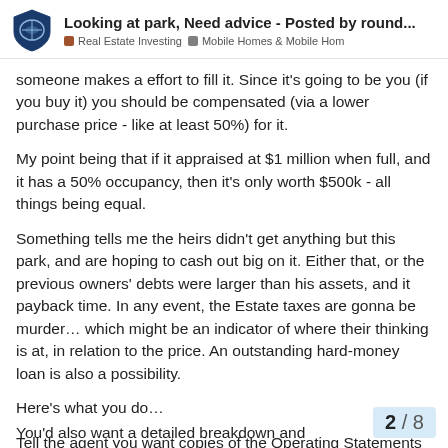Looking at park, Need advice - Posted by round... | Real Estate Investing | Mobile Homes & Mobile Hom
someone makes a effort to fill it. Since it's going to be you (if you buy it) you should be compensated (via a lower purchase price - like at least 50%) for it.
My point being that if it appraised at $1 million when full, and it has a 50% occupancy, then it's only worth $500k - all things being equal.
Something tells me the heirs didn't get anything but this park, and are hoping to cash out big on it. Either that, or the previous owners' debts were larger than his assets, and it payback time. In any event, the Estate taxes are gonna be murder… which might be an indicator of where their thinking is at, in relation to the price. An outstanding hard-money loan is also a possibility.
Here's what you do…
Tell the agent you want copies of the Operating Statements for the last 3 years, last 5 if possible.
You'd also want a detailed breakdown and